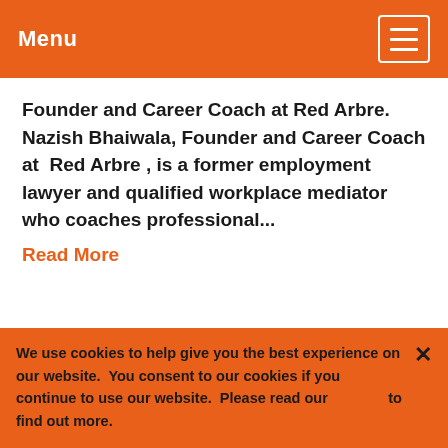Menu
Founder and Career Coach at Red Arbre. Nazish Bhaiwala, Founder and Career Coach at  Red Arbre , is a former employment lawyer and qualified workplace mediator who coaches professional...
Read More
We use cookies to help give you the best experience on our website.  You consent to our cookies if you continue to use our website.  Please read our              to find out more.